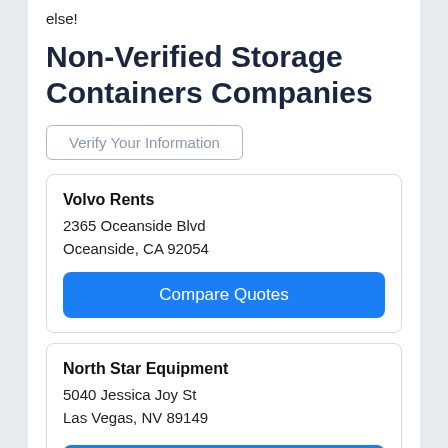else!
Non-Verified Storage Containers Companies
Verify Your Information
Volvo Rents
2365 Oceanside Blvd
Oceanside, CA 92054
Compare Quotes
North Star Equipment
5040 Jessica Joy St
Las Vegas, NV 89149
Compare Quotes